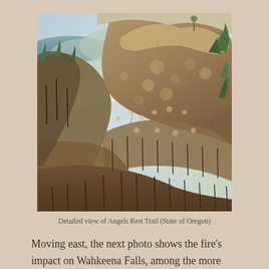[Figure (photo): Aerial detailed view of Angels Rest Trail showing a rocky cliff face with burned trees, misty valley with river visible in background, and a few surviving evergreen trees on the slopes. State of Oregon landscape after a wildfire.]
Detailed view of Angels Rest Trail (State of Oregon)
Moving east, the next photo shows the fire's impact on Wahkeena Falls, among the more hallowed spots in the